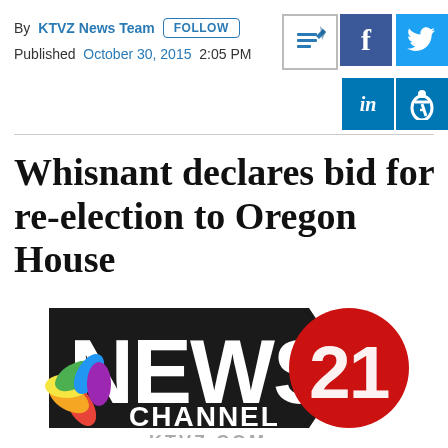By KTVZ News Team  FOLLOW
Published  October 30, 2015  2:05 PM
Whisnant declares bid for re-election to Oregon House
[Figure (logo): KTVZ News Channel 21 KTVZ.COM logo with NBC peacock]